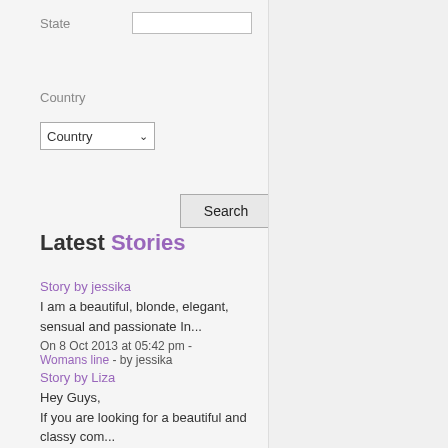State
Country
Country (dropdown)
Search (button)
Latest Stories
Story by jessika
I am a beautiful, blonde, elegant, sensual and passionate In...
On 8 Oct 2013 at 05:42 pm - Womans line - by jessika
Story by Liza
Hey Guys,
If you are looking for a beautiful and classy com...
On 17 Aug 2013 at 02:57 pm - Sex